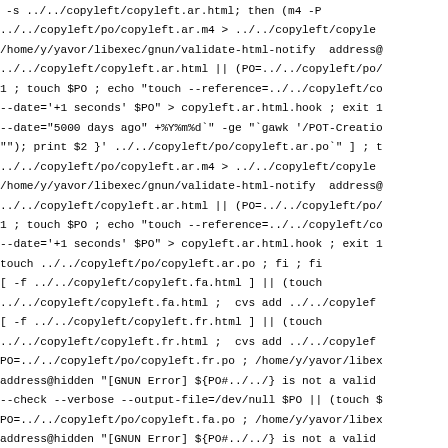-s ../../copyleft/copyleft.ar.html; then (m4 -P
../../copyleft/po/copyleft.ar.m4 > ../../copyleft/copyle
/home/y/yavor/libexec/gnun/validate-html-notify address@
../../copyleft/copyleft.ar.html || (PO=../../copyleft/po/
1 ; touch $PO ; echo "touch --reference=../../copyleft/co
--date='+1 seconds' $PO" > copyleft.ar.html.hook ; exit 1
--date="5000 days ago" +%Y%m%d`" -ge "`gawk '/POT-Creatio
""); print $2 }' ../../copyleft/po/copyleft.ar.po`" ] ; t
../../copyleft/po/copyleft.ar.m4 > ../../copyleft/copyle
/home/y/yavor/libexec/gnun/validate-html-notify address@
../../copyleft/copyleft.ar.html || (PO=../../copyleft/po/
1 ; touch $PO ; echo "touch --reference=../../copyleft/co
--date='+1 seconds' $PO" > copyleft.ar.html.hook ; exit 1
touch ../../copyleft/po/copyleft.ar.po ; fi ; fi
[ -f ../../copyleft/copyleft.fa.html ] || (touch
../../copyleft/copyleft.fa.html ;  cvs add ../../copylef
[ -f ../../copyleft/copyleft.fr.html ] || (touch
../../copyleft/copyleft.fr.html ;  cvs add ../../copylef
PO=../../copyleft/po/copyleft.fr.po ; /home/y/yavor/libex
address@hidden "[GNUN Error] ${PO#../../} is not a valid
--check --verbose --output-file=/dev/null $PO || (touch $
PO=../../copyleft/po/copyleft.fa.po ; /home/y/yavor/libex
address@hidden "[GNUN Error] ${PO#../../} is not a valid
--check --verbose --output-file=/dev/null $PO || (touch $
19 translated messages, 10 fuzzy translations.
/usr/bin/X11/msgmerge --update --previous ../../copyleft/
../../copyleft/po/copyleft.pot
26 translated messages, 3 fuzzy translations.
.../usr/bin/X11/msgmerge --update --previous ../../copyle
../../copyleft/po/copyleft.pot